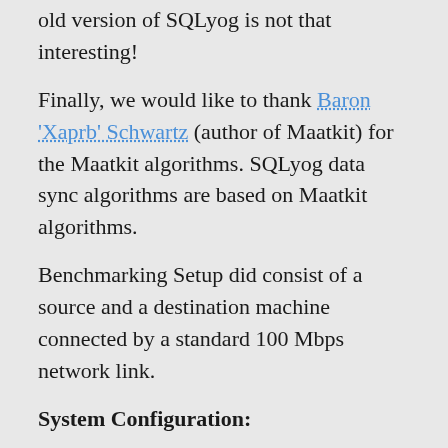old version of SQLyog is not that interesting!
Finally, we would like to thank Baron 'Xaprb' Schwartz (author of Maatkit) for the Maatkit algorithms. SQLyog data sync algorithms are based on Maatkit algorithms.
Benchmarking Setup did consist of a source and a destination machine connected by a standard 100 Mbps network link.
System Configuration:
Source: AMD Athlon 2.1 GHz Dual Core, 2GB RAM running Win XP Pro SP2
Destination: Intel  Core 2 Duo 2.53 GHz, 2GB RAM running Win XP Pro SP2